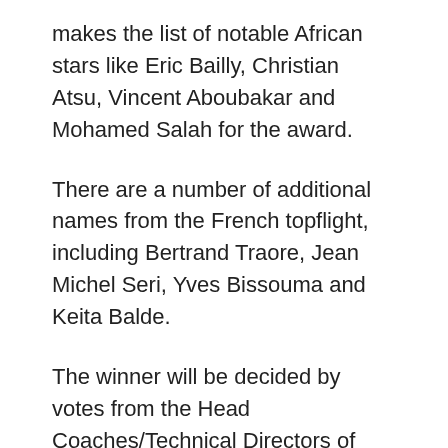makes the list of notable African stars like Eric Bailly, Christian Atsu, Vincent Aboubakar and Mohamed Salah for the award.
There are a number of additional names from the French topflight, including Bertrand Traore, Jean Michel Seri, Yves Bissouma and Keita Balde.
The winner will be decided by votes from the Head Coaches/Technical Directors of the National Associations affiliated to CAF, members of the CAF Technical and Development Committee and a panel of Media Experts. The Awards Gala will be held on Thursday, 4 January 2018 in Accra, Ghana.
Source ; Leadership Abuja